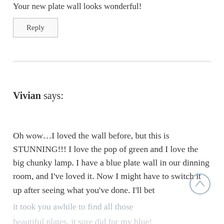Your new plate wall looks wonderful!
Reply
Vivian says:
Oh wow…I loved the wall before, but this is STUNNING!!! I love the pop of green and I love the big chunky lamp. I have a blue plate wall in our dinning room, and I've loved it. Now I might have to switch it up after seeing what you've done. I'll bet it took you awhile to find all those beautiful plates. it sure did for my blue!